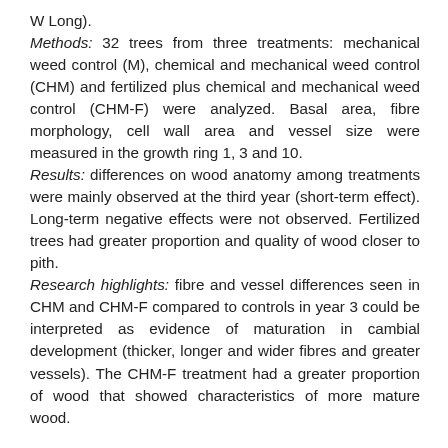W Long). Methods: 32 trees from three treatments: mechanical weed control (M), chemical and mechanical weed control (CHM) and fertilized plus chemical and mechanical weed control (CHM-F) were analyzed. Basal area, fibre morphology, cell wall area and vessel size were measured in the growth ring 1, 3 and 10. Results: differences on wood anatomy among treatments were mainly observed at the third year (short-term effect). Long-term negative effects were not observed. Fertilized trees had greater proportion and quality of wood closer to pith. Research highlights: fibre and vessel differences seen in CHM and CHM-F compared to controls in year 3 could be interpreted as evidence of maturation in cambial development (thicker, longer and wider fibres and greater vessels). The CHM-F treatment had a greater proportion of wood that showed characteristics of more mature wood.